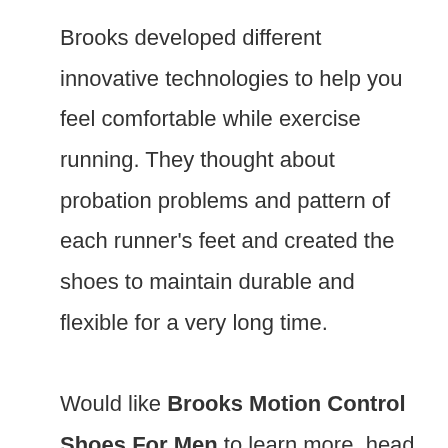Brooks developed different innovative technologies to help you feel comfortable while exercise running. They thought about probation problems and pattern of each runner's feet and created the shoes to maintain durable and flexible for a very long time.

Would like Brooks Motion Control Shoes For Men to learn more, head to